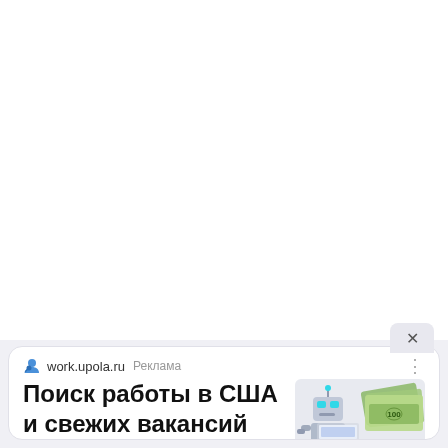[Figure (screenshot): Web browser advertisement card for work.upola.ru showing a robot with a laptop and dollar bills image, with Russian text 'Поиск работы в США и свежих вакансий онлайн' (Job search in the USA and fresh vacancies online). Marked as 'Реклама' (Advertisement). White background above with a close (X) tab button.]